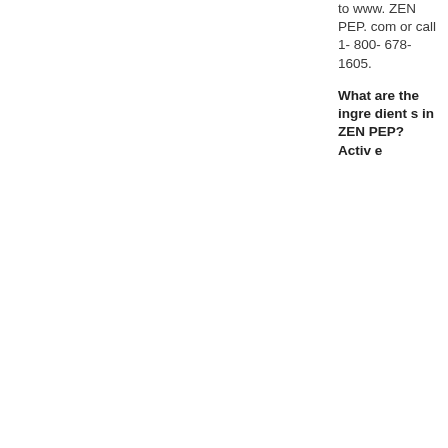to www.ZENPEP.com or call 1-800-678-1605.
What are the ingredients in ZENPEP?
Active